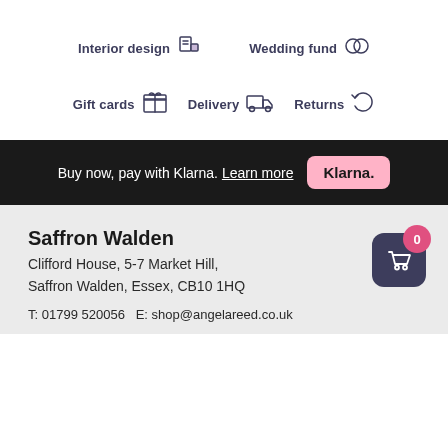[Figure (infographic): Navigation icons bar with two items: 'Interior design' with paint/colour swatch icon, and 'Wedding fund' with rings icon]
[Figure (infographic): Navigation icons bar with three items: 'Gift cards' with gift box icon, 'Delivery' with truck icon, 'Returns' with undo arrow icon]
Buy now, pay with Klarna. Learn more  Klarna.
Saffron Walden
Clifford House, 5-7 Market Hill,
Saffron Walden, Essex, CB10 1HQ
T: 01799 520056  E: shop@angelareed.co.uk